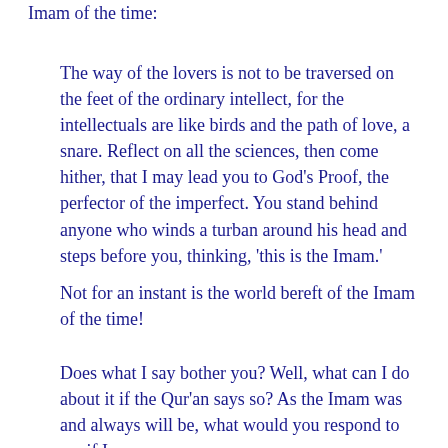Imam of the time:
The way of the lovers is not to be traversed on the feet of the ordinary intellect, for the intellectuals are like birds and the path of love, a snare. Reflect on all the sciences, then come hither, that I may lead you to God’s Proof, the perfector of the imperfect. You stand behind anyone who winds a turban around his head and steps before you, thinking, ‘this is the Imam.’
Not for an instant is the world bereft of the Imam of the time!
Does what I say bother you? Well, what can I do about it if the Qur’an says so? As the Imam was and always will be, what would you respond to me if I